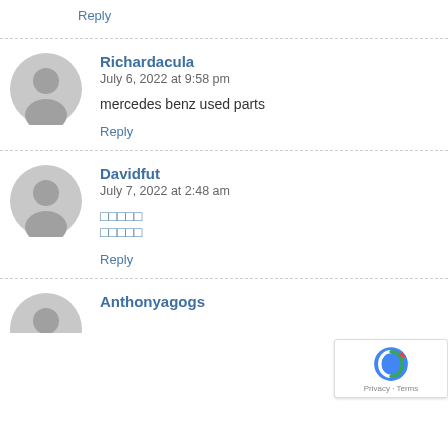Reply
Richardacula
July 6, 2022 at 9:58 pm
mercedes benz used parts
Reply
Davidfut
July 7, 2022 at 2:48 am
□□□□□
□□□□□
Reply
Anthonyagogs